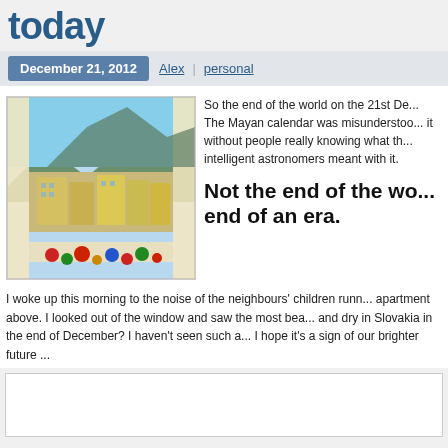today
December 21, 2012  Alex  personal
[Figure (photo): Photo taken through a window showing a cityscape with yellow buildings, mountains, and blue sky, with Christmas decorations visible in the foreground.]
So the end of the world on the 21st De... The Mayan calendar was misunderstood... it without people really knowing what th... intelligent astronomers meant with it.
Not the end of the wo... end of an era.
I woke up this morning to the noise of the neighbours' children runn... apartment above. I looked out of the window and saw the most bea... and dry in Slovakia in the end of December? I haven't seen such a... I hope it's a sign of our brighter future ...